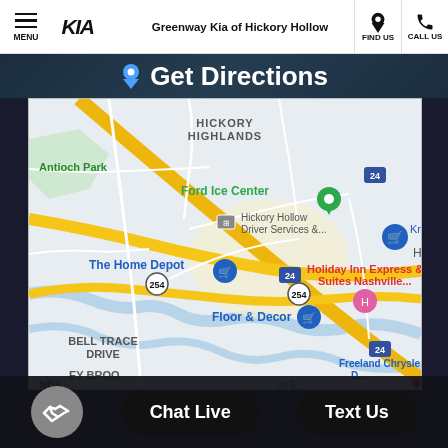MENU | Kia logo | Greenway Kia of Hickory Hollow | FIND US | CALL US
Get Directions
[Figure (map): Google Maps view showing area around Greenway Kia of Hickory Hollow near Hickory Hollow/Antioch area of Nashville, TN. Landmarks visible: Antioch Park, Ford Ice Center (pinned in green), Hickory Hollow Driver Services, Kroger, The Home Depot, Holiday Inn Express & Suites Nashville, Floor & Decor, Freeland Chrysler. Roads include I-24 and Route 254. Neighborhoods: Hickory Highlands, Bell Trace Drive, Stoney Brook, Antioch.]
Chat Live
Text Us